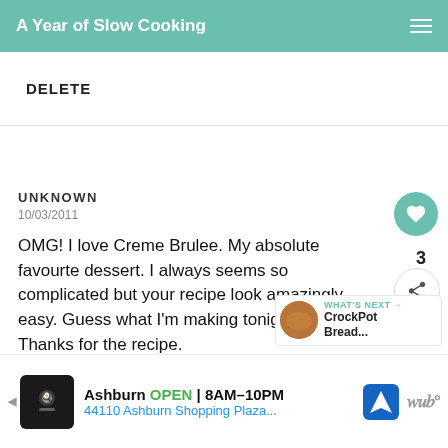A Year of Slow Cooking
DELETE
UNKNOWN
10/03/2011
OMG! I love Creme Brulee. My absolute favourte dessert. I always seems so complicated but your recipe look amazingly easy. Guess what I'm making tonight!! :) Thanks for the recipe.
3
WHAT'S NEXT → CrockPot Bread...
[Figure (screenshot): Advertisement bar: Ashburn OPEN 8AM-10PM, 44110 Ashburn Shopping Plaza...]